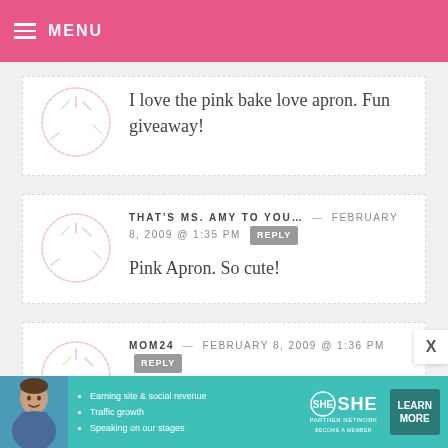MENU
I love the pink bake love apron. Fun giveaway!
THAT'S MS. AMY TO YOU… — FEBRUARY 8, 2009 @ 1:35 PM REPLY
Pink Apron. So cute!
MOM24 — FEBRUARY 8, 2009 @ 1:36 PM REPLY
What a great giveaway. thanks. I would
[Figure (infographic): SHE Partner Network advertisement banner with photo of woman, bullet points about earning site & social revenue, traffic growth, speaking on our stages, SHE logo, and LEARN MORE button]